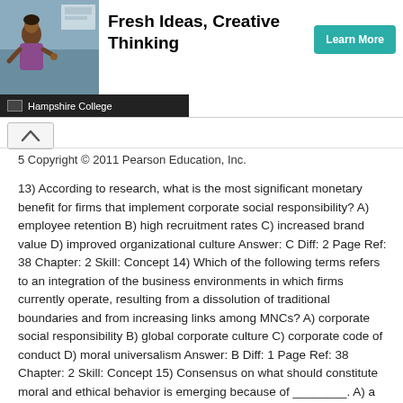[Figure (photo): Advertisement banner for Hampshire College showing a person in a classroom setting, bold text 'Fresh Ideas, Creative Thinking', a teal 'Learn More' button, and Hampshire College branding bar]
5 Copyright © 2011 Pearson Education, Inc.
13) According to research, what is the most significant monetary benefit for firms that implement corporate social responsibility? A) employee retention B) high recruitment rates C) increased brand value D) improved organizational culture Answer: C Diff: 2 Page Ref: 38 Chapter: 2 Skill: Concept 14) Which of the following terms refers to an integration of the business environments in which firms currently operate, resulting from a dissolution of traditional boundaries and from increasing links among MNCs? A) corporate social responsibility B) global corporate culture C) corporate code of conduct D) moral universalism Answer: B Diff: 1 Page Ref: 38 Chapter: 2 Skill: Concept 15) Consensus on what should constitute moral and ethical behavior is emerging because of ________. A) a global corporate culture B) American ethical values C) an increase in regional variation D) pressure from religious leaders Answer: A Diff: 2 Page Ref: 38 Chapter: 2 Skill: Concept 16) A global